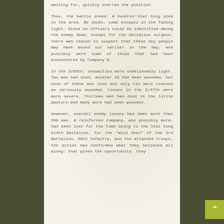waiting for, quickly overran the position.
Thus, the battle ended. A hundred Viet Cong died in the area. No doubt, some escaped in the fading light. Since no officers could be identified among the enemy dead, except for the battalion surgeon, there was reason to suspect that these key people may have moved out earlier in the day, and possibly were some of those that had been encountered by Company B.
In the 3/60th, casualties were unbelievably light. Two men had died, another 15 had been wounded, but none of these men died and only six were classed as seriously wounded. Losses in the 3/47th were more severe. Thirteen men had died in the little pasture and many more had been wounded.
However, overall enemy losses had been more than 200 men. A reinforced company, and possibly more, had been lost for the time being to the Viet Cong 514th Battalion. For the "Wild Ones" of the 3rd Battalion, 60th Infantry, and the attached troops, the action had confirmed what they believed all along: that given the opportunity, they